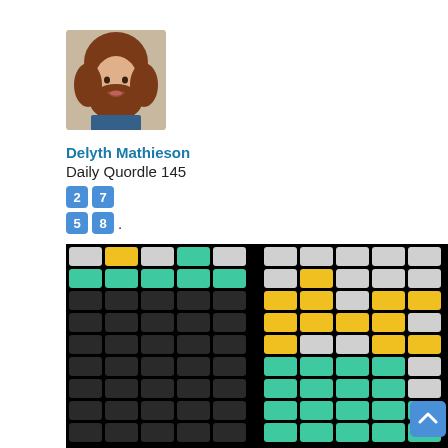[Figure (photo): Profile photo of Delyth Mathieson, a woman with curly brown hair]
Delyth Mathieson
Daily Quordle 145
2 7
5 8 .
[Figure (infographic): Quordle game result grid showing two 5x9 panels. Left panel: row1=gray,yellow,gray,green,gray; row2=green,green,green,green,green; rows3-9=black. Right panel: row1=gray,gray,gray,gray,gray; row2=gray,yellow,gray,gray,gray; row3=yellow,yellow,gray,yellow,yellow; row4=yellow,yellow,yellow,yellow,gray; row5=yellow,gray,gray,yellow,yellow; row6=green,green,green,green,gray; row7=green,green,green,green,gray; row8=green,green,green,green,green with scroll button overlay.]